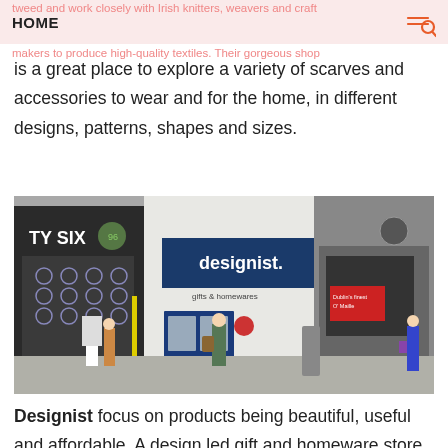HOME
tweed and work closely with Irish knitters, weavers and craft makers to produce high-quality textiles. Their gorgeous shop is a great place to explore a variety of scarves and accessories to wear and for the home, in different designs, patterns, shapes and sizes.
[Figure (photo): Street-level photograph of the Designist gift and homeware store frontage, showing the shop with a dark blue sign reading 'designist.' and 'gifts & homewares' below, flanked by other shops on a Dublin street. Pedestrians visible on the pavement.]
Designist focus on products being beautiful, useful and affordable. A design led gift and homeware store, we love just how much they collaborate with designers and crafts people, lots of which are Dublin based. They also have quite the collection of of brilliant greeting cards from local artists and designers.